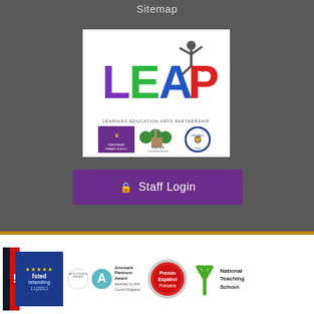Sitemap
[Figure (logo): LEAP Learning Education Arts Partnership logo with colorful letters L (purple), E (green), A (blue), P (red) and a jumping figure silhouette. Below shows three school logos: Kingshead Primary School, Gayhurst Community School, and Morpethia Primary School.]
Staff Login
[Figure (logo): Footer badges: Ofsted Outstanding 11/2012 badge, Arts Council Artsmark Platinum Award logo, Premio Espanol Primaria badge, National Teaching School logo]